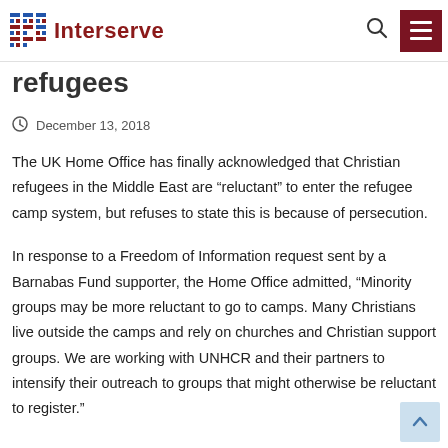Interserve
refugees
December 13, 2018
The UK Home Office has finally acknowledged that Christian refugees in the Middle East are “reluctant” to enter the refugee camp system, but refuses to state this is because of persecution.
In response to a Freedom of Information request sent by a Barnabas Fund supporter, the Home Office admitted, “Minority groups may be more reluctant to go to camps. Many Christians live outside the camps and rely on churches and Christian support groups. We are working with UNHCR and their partners to intensify their outreach to groups that might otherwise be reluctant to register.”